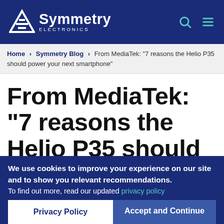Symmetry Electronics
Home > Symmetry Blog > From MediaTek: "7 reasons the Helio P35 should power your next smartphone"
From MediaTek: "7 reasons the Helio P35 should power your next
We use cookies to improve your experience on our site and to show you relevant recommendations. To find out more, read our updated privacy policy
Privacy Policy | Accept and Continue